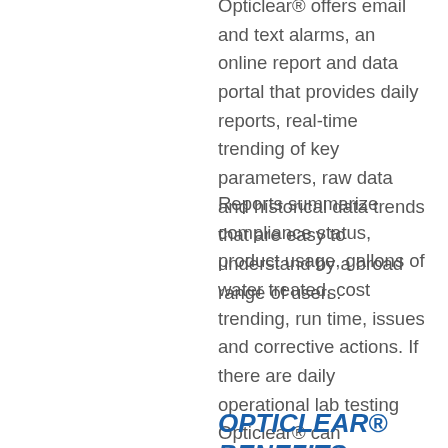Opticlear® offers email and text alarms, an online report and data portal that provides daily reports, real-time trending of key parameters, raw data and historical data trends that are easy to understand by a broad range of users.
Reports summarize compliance status, product usage, gallons of water treated, cost trending, run time, issues and corrective actions. If there are daily operational lab testing Opticlear® can automate those data points and incorporate them into daily reporting for a complete snapshot of your systems total performance.
OPTICLEAR® BENEFITS